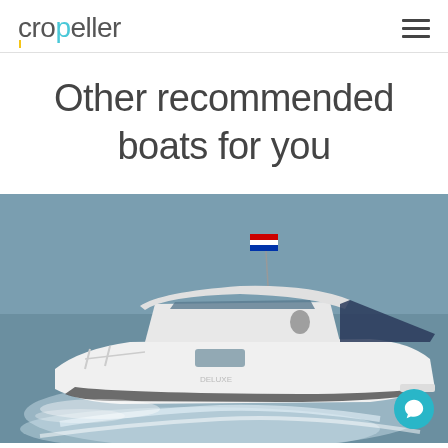cropeller
Other recommended boats for you
[Figure (photo): A white motorboat/cruiser speeding across the water, with a Croatian flag flying from the mast. The boat has a cabin with a hardtop, chrome railings, and a dark blue bimini canopy at the rear.]